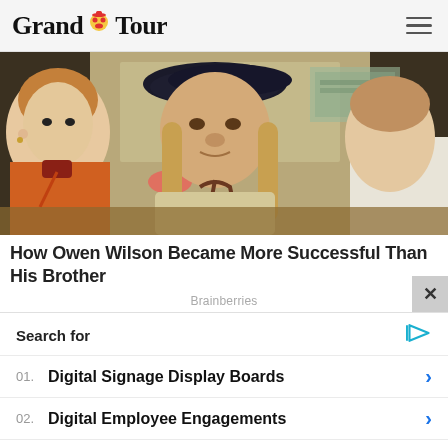Grand Tour
[Figure (photo): A man wearing a dark beret with long blond hair, wearing a beige top, seated between two other people — a pale woman in an orange top on the left and a person in white on the right, appears to be a movie still.]
How Owen Wilson Became More Successful Than His Brother
Brainberries
Search for
01. Digital Signage Display Boards
02. Digital Employee Engagements
Yahoo! Search | Sponsored